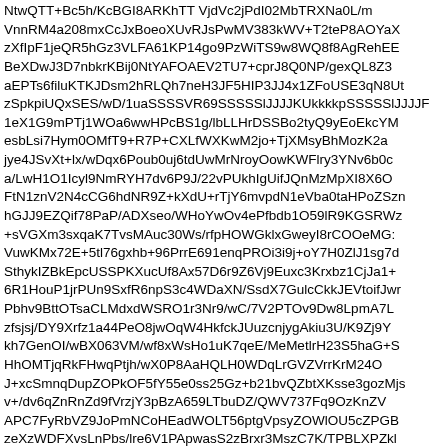NtwQTT+Bc5h/KcBGI8ARKhTT VjdVc2jPdI02MbTRXNa0L/m VnnRM4a208mxCcJxBoeoXUvRJsPwMV383kWV+T2teP8AOYaX zXfIpF1jeQR5hGz3VLFA61KP14go9PzWiTS9w8WQ8f8AgRehEE BeXDwJ3D7nbkrKBij0NtYAFOAEV2TU7+cprJ8Q0NP/gexQL8Z3 aEPTs6filuKTKJDsm2hRLQh7neH3JF5HIP3JJ4x1ZFoUSE3qN8Ut zSpkpiUQxSES/wD/1uaSSSSVR69SSSSSlJJJJKUkkkkpSSSSSlJJJJF 1eX1G9mPTj1WOa6wwHPcBS1g/lbLLHrDSSBo2tyQ9yEoEkcYM esbLsi7Hym0OMfT9+R7P+CXLfWXKwM2jo+TjXMsyBhMozK2a jye4JSvXt+lx/wDqx6Poub0uj6tdUwMrNroyOowKWFlry3YNv6b0c a/LwH1O1Icyl9NmRYH7dv6P9J/22vPUkhIgUifJQnMzMpXI8X6O FtN1znV2N4cCG6hdNR9Z+kXdU+rTjY6mvpdN1eVba0taHPoZSzn hGJJ9EZQif78PaP/ADXseo/WHoYwOv4ePfbdb1O59lR9KGSRWz +sVGXm3sxqaK7TvsMAuc30Ws/rfpHOWGklxGweyI8rCOOeMG: VuwKMx72E+5tl76gxhb+96PrrE691enqPROi3i9j+oY7H0ZlJ1sg7d SthykIZBkEpcUSSPKXucUf8Ax57D6r9Z6Vj9Euxc3Krxbz1CjJa1+ 6R1HouP1jrPUn9SxfR6npS3c4WDaXN/SsdX7GulcCkkJEVtoifJwr Pbhv9BttOTsaCLMdxdWSRO1r3Nr9/wC/7V2PTOv9Dw8LpmA7L zfsjsj/DY9Xrfz1a44PeO8jwOqW4HkfckJUuzcnjygAkiu3U/K9Zj9Y kh7GenOI/wBX063VM/wf8xWsHo1uK7qeE/MeMetlrH23S5haG+S HhOMTjqRkFHwqPtjh/wX0P8AaHQLH0WDqLrGVZVrrKrM24O J+xcSmnqDupZOPkOF5fY55e0ss25Gz+b21bvQZbtXKsse3gozMjs v+/dv6qZnRnZd9fVrzjY3pBzA659LTbuDZ/QWV737Fq9OzKnZV APC7FyRbVZ9JoPmNCoHEadWOLT56ptgVpsyZOWlOU5cZPGB zeXzWDFXvsLnPbs/lre6V1PApwasS2zBrxr3MszC7K/TPBLXPZkl RduHxn/qkvtNzNLK/nqEBYNilZcGOcIwlxR4a113jtL0voVmb0as5 HMv6aHoi97f5vnf+k/BrlsP9go2PtEzsZ+f6K7XWHYwa/o7XW7dl